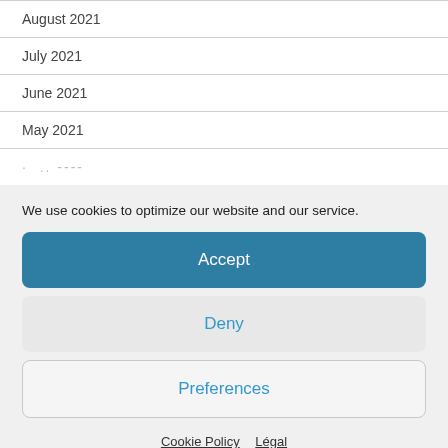August 2021
July 2021
June 2021
May 2021
· .. ----
We use cookies to optimize our website and our service.
Accept
Deny
Preferences
Cookie Policy   Légal